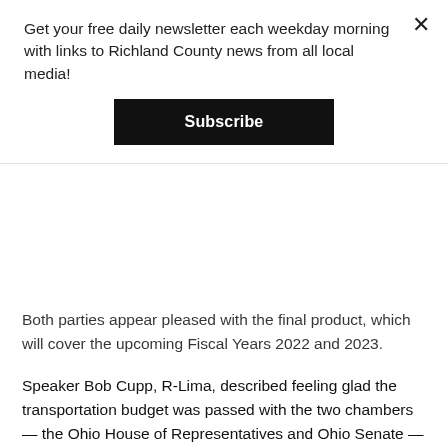Get your free daily newsletter each weekday morning with links to Richland County news from all local media!
Subscribe
Both parties appear pleased with the final product, which will cover the upcoming Fiscal Years 2022 and 2023.
Speaker Bob Cupp, R-Lima, described feeling glad the transportation budget was passed with the two chambers — the Ohio House of Representatives and Ohio Senate — not requiring a conference committee to hash out any contentious details. This may bode well for the much larger state operating budget to be negotiated over the coming months, Cupp said, adding it “speaks positively for the things we may be able to accomplish.”